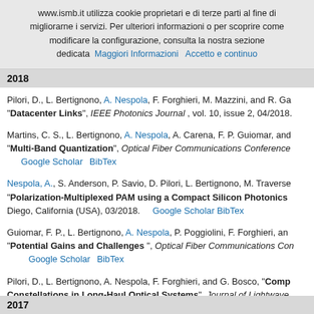www.ismb.it utilizza cookie proprietari e di terze parti al fine di migliorarne i servizi. Per ulteriori informazioni o per scoprire come modificare la configurazione, consulta la nostra sezione dedicata  Maggiori Informazioni  Accetto e continuo
2018
Pilori, D., L. Bertignono, A. Nespola, F. Forghieri, M. Mazzini, and R. Ga... "Datacenter Links", IEEE Photonics Journal , vol. 10, issue 2, 04/2018.
Martins, C. S., L. Bertignono, A. Nespola, A. Carena, F. P. Guiomar, and... "Multi-Band Quantization", Optical Fiber Communications Conference... Google Scholar  BibTex
Nespola, A., S. Anderson, P. Savio, D. Pilori, L. Bertignono, M. Traverse... "Polarization-Multiplexed PAM using a Compact Silicon Photonics..." Diego, California (USA), 03/2018.  Google Scholar  BibTex
Guiomar, F. P., L. Bertignono, A. Nespola, P. Poggiolini, F. Forghieri, an... "Potential Gains and Challenges ", Optical Fiber Communications Con... Google Scholar  BibTex
Pilori, D., L. Bertignono, A. Nespola, F. Forghieri, and G. Bosco, "Comp... Constellations in Long-Haul Optical Systems", Journal of Lightwave...
2017